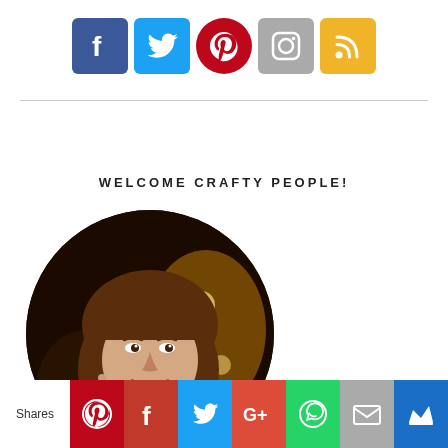[Figure (infographic): Row of five social media icon buttons: Facebook (blue), Twitter (light blue), Pinterest (red circle), Instagram (gray), RSS (yellow/gold)]
WELCOME CRAFTY PEOPLE!
[Figure (photo): Circular cropped portrait photo of a smiling woman with brown hair, in a dimly lit restaurant or venue setting]
[Figure (infographic): Bottom share bar with 'Shares' label and seven social share icons: Pinterest, Facebook, Twitter, Google+, WhatsApp, Email, and a crown/bookmark icon]